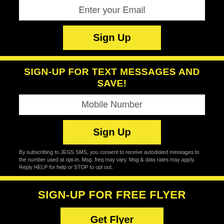Enter your Email
Sign Up
SIGN-UP FOR TEXT MESSAGES AND SAVE!
Mobile Number
Sign Up
By subscribing to JEGS SMS, you consent to receive autodialed messages to the number used at opt-in. Msg. freq may vary. Msg & data rates may apply. Reply HELP for help or STOP to opt out.
SIGN-UP FOR FREE FLYER
Get Flyer